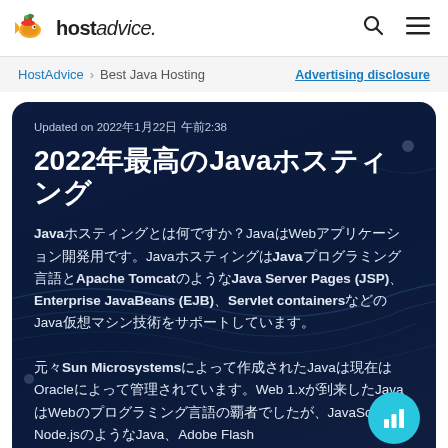hostadvice.
HostAdvice > Best Java Hosting   Advertising disclosure
Updated on 2022年1月22日 午前2:38
2022年最高のJavaホスティング
Javaホスティングとは何ですか？JavaはWebアプリケーション開発用です。JavaホスティングはJavaプログラミング言語とApache TomcatのようなJava Server Pages (JSP)、Enterprise JavaBeans (EJB)、Servlet containersなどのJava仮想マシン技術をサポートしています。元々Sun Microsystemsによって作成されたJavaは現在はOracleによって管理されています。Web 1.xが到来したJavaはWebのプログラミング言語の覇者でしたが、JavaScriptやNode.jsのようなJava、Adobe Flashなどの...